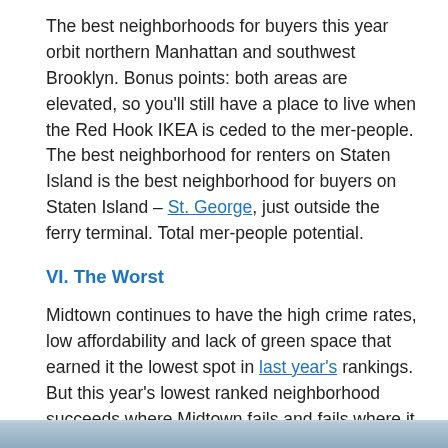The best neighborhoods for buyers this year orbit northern Manhattan and southwest Brooklyn. Bonus points: both areas are elevated, so you'll still have a place to live when the Red Hook IKEA is ceded to the mer-people. The best neighborhood for renters on Staten Island is the best neighborhood for buyers on Staten Island – St. George, just outside the ferry terminal. Total mer-people potential.
VI. The Worst
Midtown continues to have the high crime rates, low affordability and lack of green space that earned it the lowest spot in last year's rankings. But this year's lowest ranked neighborhood succeeds where Midtown fails and fails where it succeeds, boasting New York City's longest commute times and lowest walkability score.
[Figure (photo): Partial image visible at the bottom of the page, appears to be a cityscape or street scene with blue-grey tones.]